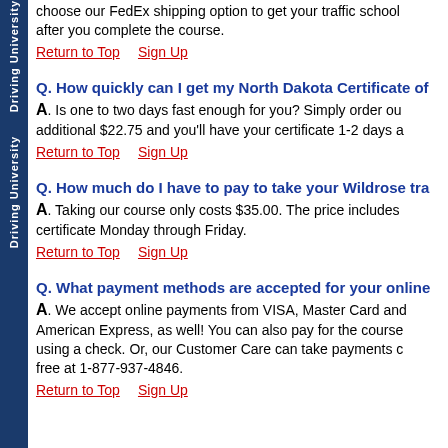choose our FedEx shipping option to get your traffic school certificate after you complete the course.
Return to Top    Sign Up
Q. How quickly can I get my North Dakota Certificate of
A. Is one to two days fast enough for you? Simply order our additional $22.75 and you'll have your certificate 1-2 days a
Return to Top    Sign Up
Q. How much do I have to pay to take your Wildrose tra
A. Taking our course only costs $35.00. The price includes certificate Monday through Friday.
Return to Top    Sign Up
Q. What payment methods are accepted for your online
A. We accept online payments from VISA, Master Card and American Express, as well! You can also pay for the course using a check. Or, our Customer Care can take payments c free at 1-877-937-4846.
Return to Top    Sign Up